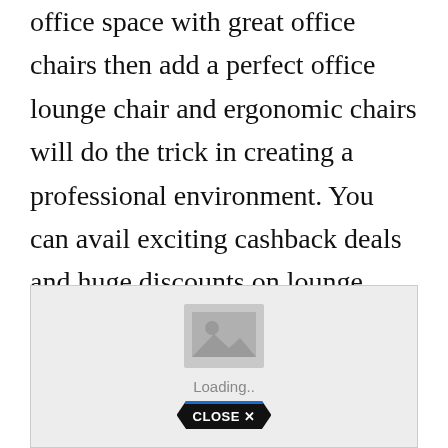office space with great office chairs then add a perfect office lounge chair and ergonomic chairs will do the trick in creating a professional environment. You can avail exciting cashback deals and huge discounts on lounge chairs with low prices. All of these products ship in 5-6 weeks.
[Figure (photo): Image loading placeholder with a photo icon, 'Loading..' text, and a black pentagon-style 'CLOSE X' button with blue top border]